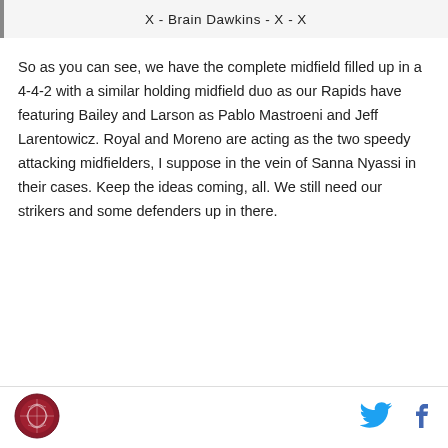X - Brain Dawkins - X - X
So as you can see, we have the complete midfield filled up in a 4-4-2 with a similar holding midfield duo as our Rapids have featuring Bailey and Larson as Pablo Mastroeni and Jeff Larentowicz. Royal and Moreno are acting as the two speedy attacking midfielders, I suppose in the vein of Sanna Nyassi in their cases. Keep the ideas coming, all. We still need our strikers and some defenders up in there.
[Figure (logo): Colorado Rapids circular logo in dark red/maroon]
[Figure (logo): Twitter bird icon in blue]
[Figure (logo): Facebook f icon in dark blue]